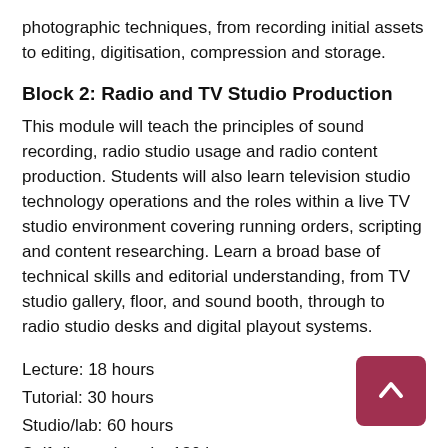photographic techniques, from recording initial assets to editing, digitisation, compression and storage.
Block 2: Radio and TV Studio Production
This module will teach the principles of sound recording, radio studio usage and radio content production. Students will also learn television studio technology operations and the roles within a live TV studio environment covering running orders, scripting and content researching. Learn a broad base of technical skills and editorial understanding, from TV studio gallery, floor, and sound booth, through to radio studio desks and digital playout systems.
Lecture:  18 hours
Tutorial:  30 hours
Studio/lab:  60 hours
Self-directed study:  130 hours
Assessment:  62 hours